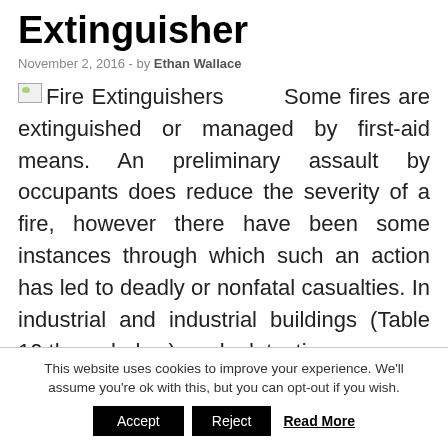Extinguisher
November 2, 2016  -  by Ethan Wallace
Some fires are extinguished or managed by first-aid means. An preliminary assault by occupants does reduce the severity of a fire, however there have been some instances through which such an action has led to deadly or nonfatal casualties. In industrial and industrial buildings (Table 10.three, below), early detection
This website uses cookies to improve your experience. We'll assume you're ok with this, but you can opt-out if you wish.